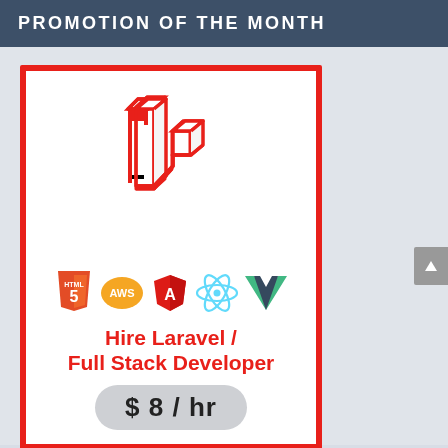PROMOTION OF THE MONTH
[Figure (logo): Laravel framework logo in red outline style — 3D box shapes forming the letter L]
[Figure (illustration): Row of technology icons: HTML5, AWS, Angular, React, Vue.js]
Hire Laravel / Full Stack Developer
$8 / hr